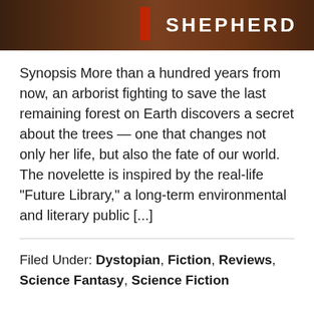[Figure (photo): Top portion of a book cover showing dark forest/tree bark background with the word SHEPHERD in white bold uppercase letters and a red vertical element]
Synopsis More than a hundred years from now, an arborist fighting to save the last remaining forest on Earth discovers a secret about the trees — one that changes not only her life, but also the fate of our world. The novelette is inspired by the real-life “Future Library,” a long-term environmental and literary public [...]
Filed Under: Dystopian, Fiction, Reviews, Science Fantasy, Science Fiction